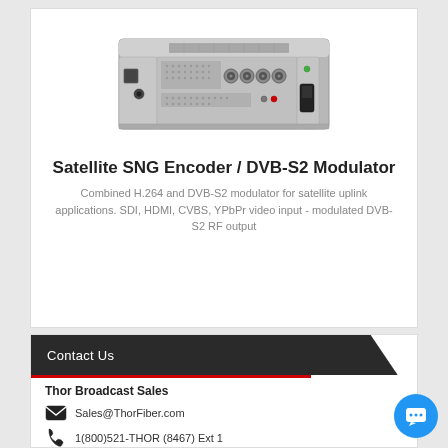[Figure (photo): Satellite SNG Encoder / DVB-S2 Modulator hardware unit — a silver rack-mount device with multiple BNC connectors, ventilation holes, and front/rear panel ports.]
Satellite SNG Encoder / DVB-S2 Modulator
Combined H.264 and DVB-S2 modulator for satellite uplink applications. SDI, HDMI, CVBS, YPbPr video input - modulated DVB-S2 RF output
Contact Us
Thor Broadcast Sales
Sales@ThorFiber.com
1(800)521-THOR (8467) Ext 1